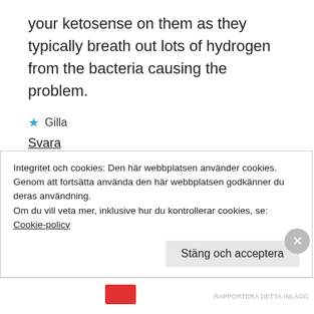your ketosense on them as they typically breath out lots of hydrogen from the bacteria causing the problem.
★ Gilla
Svara
jenslabs.com
september 23, 2015 at 10:25 f m
Integritet och cookies: Den här webbplatsen använder cookies. Genom att fortsätta använda den här webbplatsen godkänner du deras användning.
Om du vill veta mer, inklusive hur du kontrollerar cookies, se:
Cookie-policy
Stäng och acceptera